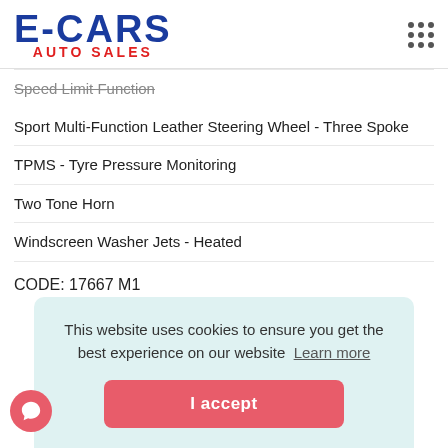E-CARS AUTO SALES
Speed Limit Function
Sport Multi-Function Leather Steering Wheel - Three Spoke
TPMS - Tyre Pressure Monitoring
Two Tone Horn
Windscreen Washer Jets - Heated
CODE: 17667 M1
This website uses cookies to ensure you get the best experience on our website  Learn more
I accept